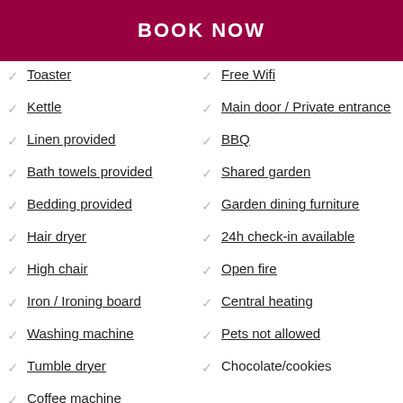BOOK NOW
Toaster
Kettle
Linen provided
Bath towels provided
Bedding provided
Hair dryer
High chair
Iron / Ironing board
Washing machine
Tumble dryer
Coffee machine
Free Wifi
Main door / Private entrance
BBQ
Shared garden
Garden dining furniture
24h check-in available
Open fire
Central heating
Pets not allowed
Chocolate/cookies